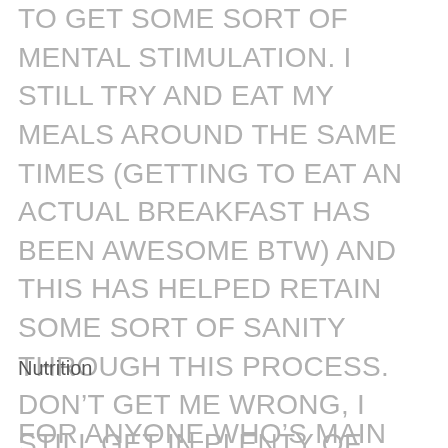TO GET SOME SORT OF MENTAL STIMULATION. I STILL TRY AND EAT MY MEALS AROUND THE SAME TIMES (GETTING TO EAT AN ACTUAL BREAKFAST HAS BEEN AWESOME BTW) AND THIS HAS HELPED RETAIN SOME SORT OF SANITY THROUGH THIS PROCESS. DON’T GET ME WRONG, I STILL GET IN PLENTY OF NETFLIX AND XBOX DURING THE DAY, BUT IT’S IMPORTANT TO ME TO FEEL LIKE I’VE HAD SOME SORT OF PRODUCTIVITY THROUGHOUT THE DAY.
Nutrition
FOR ANYONE WHO’S MAIN EXCUSE WAS THEY